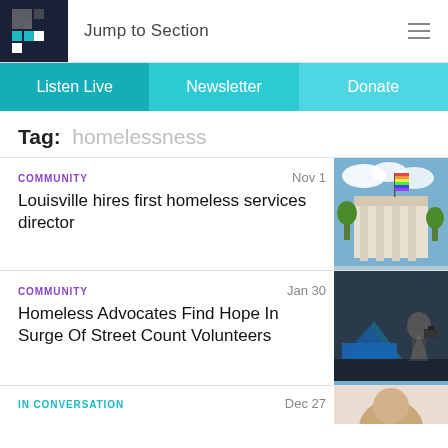Jump to Section
Listen Live | Newsletter | Donate
Tag: homelessness
COMMUNITY  Nov 1  Louisville hires first homeless services director
COMMUNITY  Jan 30  Homeless Advocates Find Hope In Surge Of Street Count Volunteers
IN CONVERSATION  Dec 27